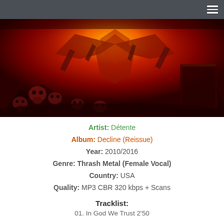≡
[Figure (illustration): Dark fantasy/metal album art featuring skulls, demonic figures, bones, and a bright hellish orange glow in a chaotic red scene.]
Artist: Détente
Album: Decline (Reissue)
Year: 2010/2016
Genre: Thrash Metal (Female Vocal)
Country: USA
Quality: MP3 CBR 320 kbps + Scans
Tracklist:
01. In God We Trust 2'50